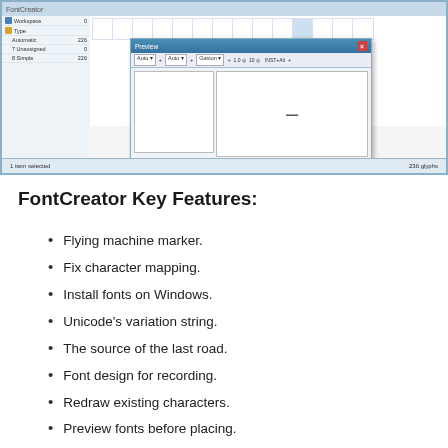[Figure (screenshot): FontCreator application window screenshot showing a glyph preview dialog with toolbar controls and a preview panel containing a dash character, overlaid on the main glyph table. Status bar at bottom shows '1 item selected' and '236 glyphs'.]
FontCreator Key Features:
Flying machine marker.
Fix character mapping.
Install fonts on Windows.
Unicode's variation string.
The source of the last road.
Font design for recording.
Redraw existing characters.
Preview fonts before placing.
Find and rename the glyph art.
Then add the missing characters too.